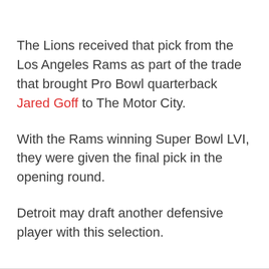The Lions received that pick from the Los Angeles Rams as part of the trade that brought Pro Bowl quarterback Jared Goff to The Motor City.
With the Rams winning Super Bowl LVI, they were given the final pick in the opening round.
Detroit may draft another defensive player with this selection.